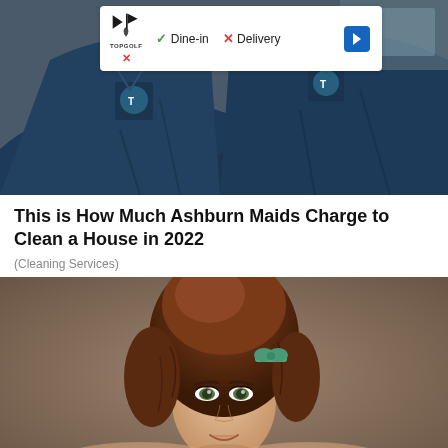[Figure (photo): Two people in dark navy blue polo shirts with a logo, photographed from the chest down, sitting near a vehicle. An advertisement overlay for Topgolf is visible with Dine-in checkmark and Delivery X options.]
This is How Much Ashburn Maids Charge to Clean a House in 2022
(Cleaning Services)
[Figure (photo): Portrait of a young woman with an elaborate 1960s-style updo auburn/brown hair, wearing a teal/green hair accessory, photographed against a warm beige-brown background, looking slightly upward with a subtle smile.]